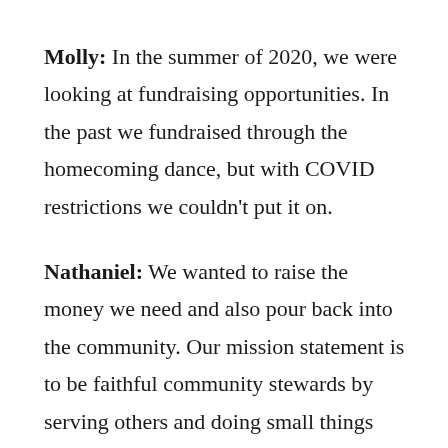Molly: In the summer of 2020, we were looking at fundraising opportunities. In the past we fundraised through the homecoming dance, but with COVID restrictions we couldn't put it on.
Nathaniel: We wanted to raise the money we need and also pour back into the community. Our mission statement is to be faithful community stewards by serving others and doing small things with great love, and Love Your Neighbor Week is the embodiment of our mission. It's our opportunity to reinvest